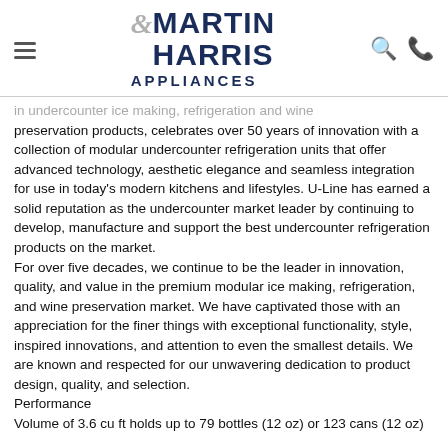Martin & Harris Appliances
in undercounter ice making, refrigeration and wine preservation products, celebrates over 50 years of innovation with a collection of modular undercounter refrigeration units that offer advanced technology, aesthetic elegance and seamless integration for use in today's modern kitchens and lifestyles. U-Line has earned a solid reputation as the undercounter market leader by continuing to develop, manufacture and support the best undercounter refrigeration products on the market.
For over five decades, we continue to be the leader in innovation, quality, and value in the premium modular ice making, refrigeration, and wine preservation market. We have captivated those with an appreciation for the finer things with exceptional functionality, style, inspired innovations, and attention to even the smallest details. We are known and respected for our unwavering dedication to product design, quality, and selection.
Performance
Volume of 3.6 cu ft holds up to 79 bottles (12 oz) or 123 cans (12 oz)